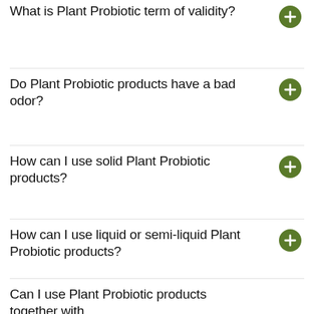What is Plant Probiotic term of validity?
Do Plant Probiotic products have a bad odor?
How can I use solid Plant Probiotic products?
How can I use liquid or semi-liquid Plant Probiotic products?
Can I use Plant Probiotic products together with...